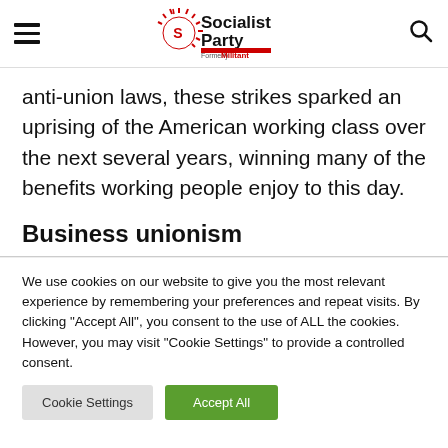Socialist Party – Formerly Militant (navigation header with hamburger menu and search icon)
anti-union laws, these strikes sparked an uprising of the American working class over the next several years, winning many of the benefits working people enjoy to this day.
Business unionism
We use cookies on our website to give you the most relevant experience by remembering your preferences and repeat visits. By clicking "Accept All", you consent to the use of ALL the cookies. However, you may visit "Cookie Settings" to provide a controlled consent.